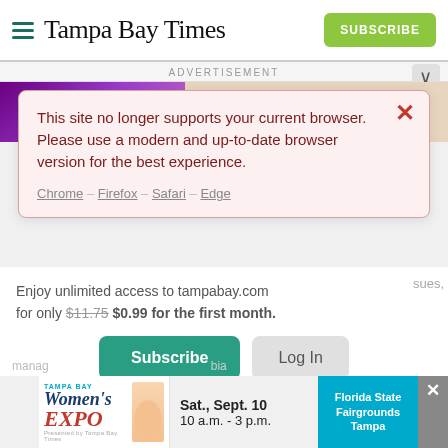Tampa Bay Times
ADVERTISEMENT
42ND ANNUAL | SEP. 29
This site no longer supports your current browser. Please use a modern and up-to-date browser version for the best experience.
Chrome – Firefox – Safari – Edge
Enjoy unlimited access to tampabay.com for only $11.75 $0.99 for the first month.
Subscribe
Log In
Interested in print delivery? Subscribe here →
[Figure (screenshot): Tampa Bay Women's Expo advertisement banner: Sat., Sept. 10, 10 a.m. - 3 p.m., Florida State Fairgrounds Tampa]